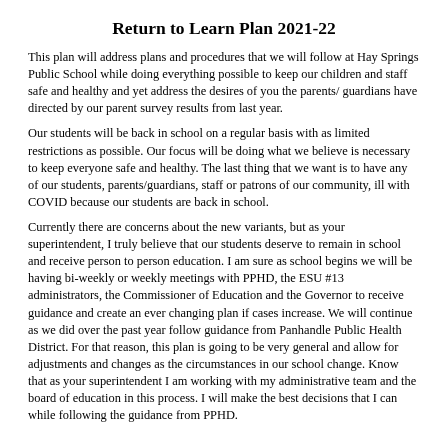Return to Learn Plan 2021-22
This plan will address plans and procedures that we will follow at Hay Springs Public School while doing everything possible to keep our children and staff safe and healthy and yet address the desires of you the parents/ guardians have directed by our parent survey results from last year.
Our students will be back in school on a regular basis with as limited restrictions as possible. Our focus will be doing what we believe is necessary to keep everyone safe and healthy. The last thing that we want is to have any of our students, parents/guardians, staff or patrons of our community, ill with COVID because our students are back in school.
Currently there are concerns about the new variants, but as your superintendent, I truly believe that our students deserve to remain in school and receive person to person education. I am sure as school begins we will be having bi-weekly or weekly meetings with PPHD, the ESU #13 administrators, the Commissioner of Education and the Governor to receive guidance and create an ever changing plan if cases increase. We will continue as we did over the past year follow guidance from Panhandle Public Health District. For that reason, this plan is going to be very general and allow for adjustments and changes as the circumstances in our school change. Know that as your superintendent I am working with my administrative team and the board of education in this process. I will make the best decisions that I can while following the guidance from PPHD.